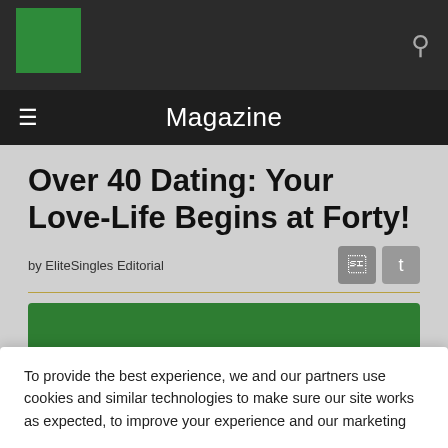Magazine
Over 40 Dating: Your Love-Life Begins at Forty!
by EliteSingles Editorial
[Figure (illustration): Green rectangular image block below article header]
To provide the best experience, we and our partners use cookies and similar technologies to make sure our site works as expected, to improve your experience and our marketing